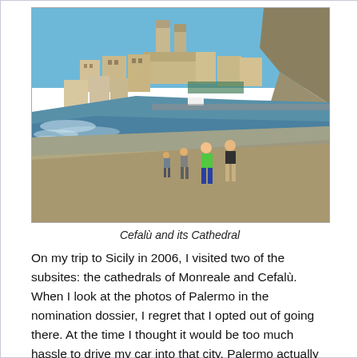[Figure (photo): Coastal beach scene with people walking along the sand in the foreground. Behind them is the historic town of Cefalù, Sicily, with its distinctive Norman cathedral and towers visible against a blue sky. Rocky cliffs rise to the right. The sea is to the left with waves on the shore.]
Cefalù and its Cathedral
On my trip to Sicily in 2006, I visited two of the subsites: the cathedrals of Monreale and Cefalù. When I look at the photos of Palermo in the nomination dossier, I regret that I opted out of going there. At the time I thought it would be too much hassle to drive my car into that city. Palermo actually is the main carrier of